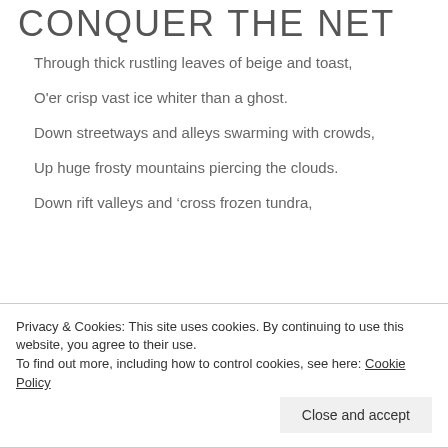CONQUER THE NET
Through thick rustling leaves of beige and toast,
O'er crisp vast ice whiter than a ghost.
Down streetways and alleys swarming with crowds,
Up huge frosty mountains piercing the clouds.
Down rift valleys and 'cross frozen tundra,
Privacy & Cookies: This site uses cookies. By continuing to use this website, you agree to their use.
To find out more, including how to control cookies, see here: Cookie Policy
Close and accept